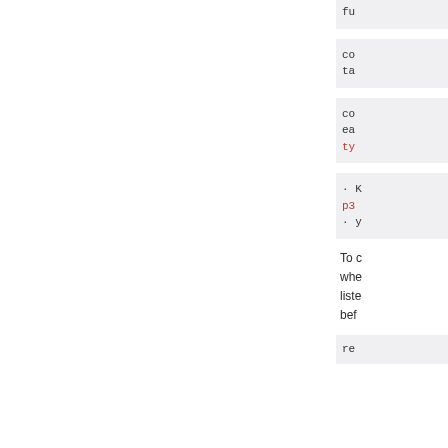fu
co
ta
co
ea
ty
· K
p3
· y
To c
whe
liste
bef
re